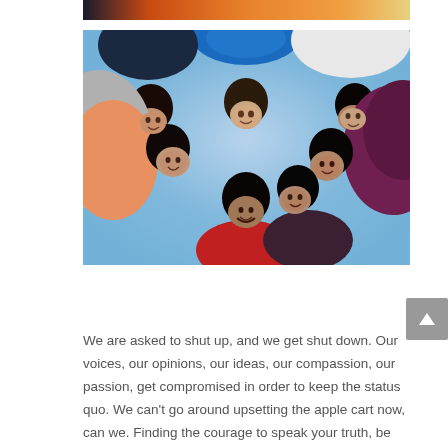[Figure (photo): Partial top strip of a warm-toned photo, cropped at top of page]
[Figure (photo): Group of young diverse people lying in a circle looking up at the camera against a blue sky background]
We are asked to shut up, and we get shut down. Our voices, our opinions, our ideas, our compassion, our passion, get compromised in order to keep the status quo. We can't go around upsetting the apple cart now, can we. Finding the courage to speak your truth, be